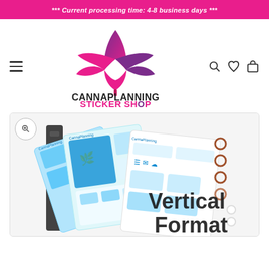*** Current processing time: 4-8 business days ***
[Figure (logo): CannaPlanning Sticker Shop logo — cannabis leaf shape in pink/purple gradient with store name in stylized black font]
[Figure (photo): Product photo showing multiple sheets of blue/teal planner sticker kits fanned out, with a planner in the background. Text overlay reads 'Vertical Format']